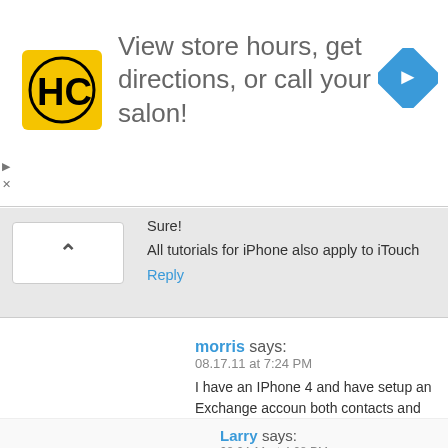[Figure (infographic): Advertisement banner: HC salon logo (yellow square with black HC text), text 'View store hours, get directions, or call your salon!', blue diamond turn arrow icon on right]
Sure!

All tutorials for iPhone also apply to iTouch
Reply
morris says:
08.17.11 at 7:24 PM
I have an IPhone 4 and have setup an Exchange account both contacts and calendars. However, the contacts that number labels don't get synced. i.e. John's phone. Google do I do?
Reply
Larry says:
08.24.11 at 4:08 PM